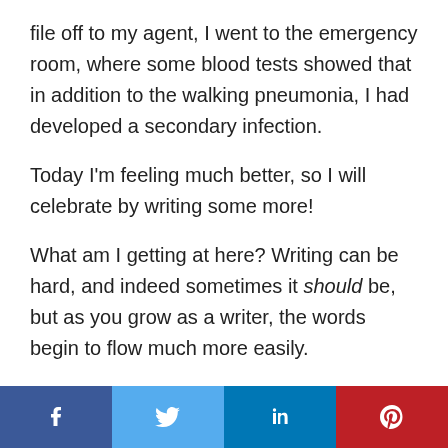file off to my agent, I went to the emergency room, where some blood tests showed that in addition to the walking pneumonia, I had developed a secondary infection.
Today I'm feeling much better, so I will celebrate by writing some more!
What am I getting at here? Writing can be hard, and indeed sometimes it should be, but as you grow as a writer, the words begin to flow much more easily.
If you’re going to enter this career, be realistic about the demands.